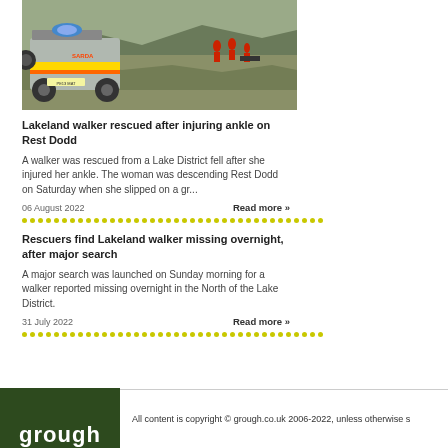[Figure (photo): Mountain rescue vehicle (4x4 SUV with emergency markings) on moorland with rescue team members in background on a hillside]
Lakeland walker rescued after injuring ankle on Rest Dodd
A walker was rescued from a Lake District fell after she injured her ankle. The woman was descending Rest Dodd on Saturday when she slipped on a gr...
06 August 2022
Read more »
Rescuers find Lakeland walker missing overnight, after major search
A major search was launched on Sunday morning for a walker reported missing overnight in the North of the Lake District.
31 July 2022
Read more »
grough — All content is copyright © grough.co.uk 2006-2022, unless otherwise s